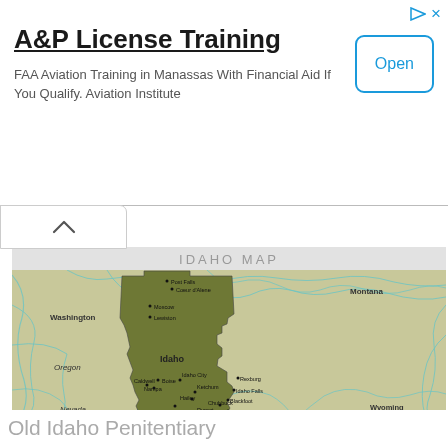[Figure (infographic): Advertisement banner: 'A&P License Training' with text 'FAA Aviation Training in Manassas With Financial Aid If You Qualify. Aviation Institute' and an 'Open' button on the right. Small play and close icons top right.]
[Figure (map): Idaho Map showing state borders and neighboring states (Washington, Montana, Oregon, Wyoming, Nevada, Utah). Cities labeled include Post Falls, Coeur d'Alene, Moscow, Lewiston, Boise, Nampa, Caldwell, Nampa, Idaho City, Twin Falls, Ketchum, Hailey, Chubbuck, Rupert, Burley, Pocatello, Blackfoot, Idaho Falls, Rexburg. The state is highlighted in olive/dark green. Rivers shown in cyan/teal.]
Old Idaho Penitentiary
[Figure (photo): Partial view of second advertisement at bottom showing top of a person's head (woman with hair up) against a light blue background, with play and close icons top right.]